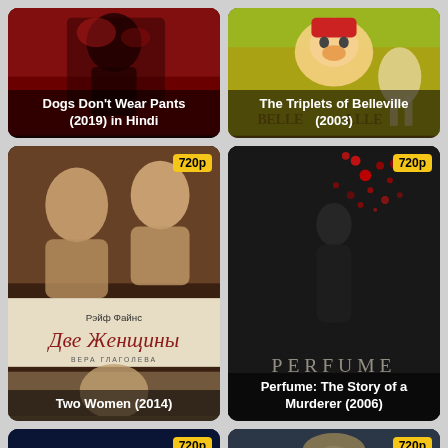[Figure (photo): Movie poster for Dogs Don't Wear Pants (2019) in Hindi — dark red/black dominatrix scene]
[Figure (photo): Movie poster for The Triplets of Belleville (2003) — animated characters in yellow-green tones]
[Figure (photo): Movie poster for Two Women (2014) with 720p badge — Russian film with women portraits and Cyrillic text]
[Figure (photo): Movie poster for Perfume: The Story of a Murderer (2006) with 720p badge — dark silhouette with red petals]
[Figure (photo): Movie poster bottom left with 720p badge — dark blue tones, man with lights]
[Figure (photo): Movie poster bottom right with 720p badge — dark tones, young man's face]